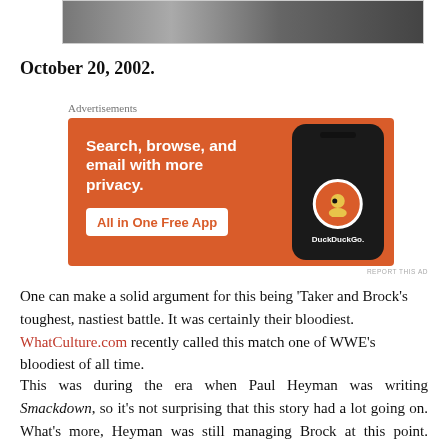[Figure (photo): Black and white photo strip at top of page]
October 20, 2002.
Advertisements
[Figure (other): DuckDuckGo advertisement banner: Search, browse, and email with more privacy. All in One Free App. DuckDuckGo.]
REPORT THIS AD
One can make a solid argument for this being 'Taker and Brock's toughest, nastiest battle. It was certainly their bloodiest. WhatCulture.com recently called this match one of WWE's bloodiest of all time.
This was during the era when Paul Heyman was writing Smackdown, so it's not surprising that this story had a lot going on. What's more, Heyman was still managing Brock at this point. 'Taker's then-pregnant